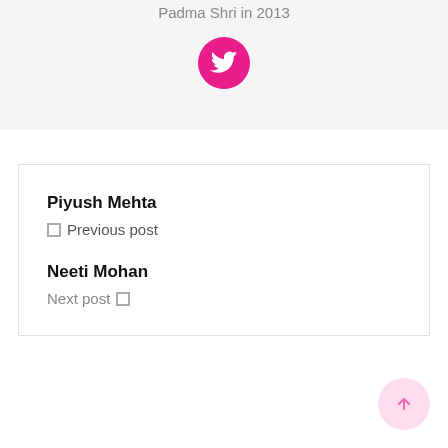Padma Shri in 2013
[Figure (illustration): Pink circular Twitter bird icon]
Piyush Mehta
← Previous post
Neeti Mohan
Next post →
[Figure (illustration): Light pink circular back-to-top arrow button]